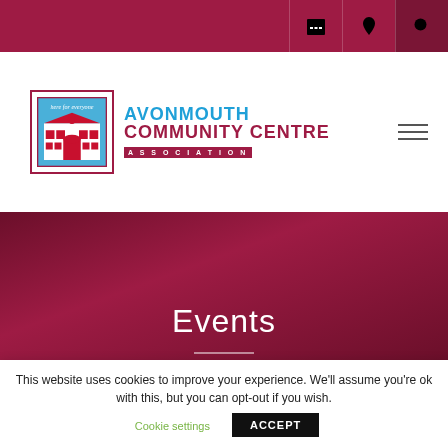Navigation bar with calendar, location, and search icons
[Figure (logo): Avonmouth Community Centre Association logo with building illustration and text]
Events
This website uses cookies to improve your experience. We'll assume you're ok with this, but you can opt-out if you wish.
Cookie settings  ACCEPT